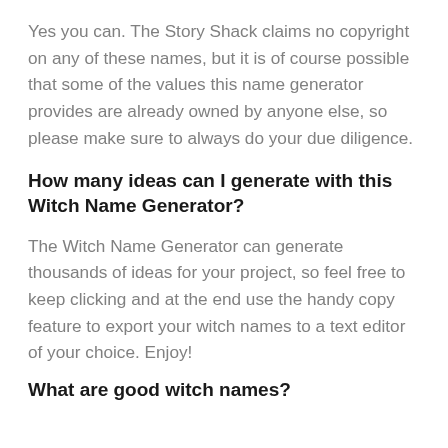Yes you can. The Story Shack claims no copyright on any of these names, but it is of course possible that some of the values this name generator provides are already owned by anyone else, so please make sure to always do your due diligence.
How many ideas can I generate with this Witch Name Generator?
The Witch Name Generator can generate thousands of ideas for your project, so feel free to keep clicking and at the end use the handy copy feature to export your witch names to a text editor of your choice. Enjoy!
What are good witch names?